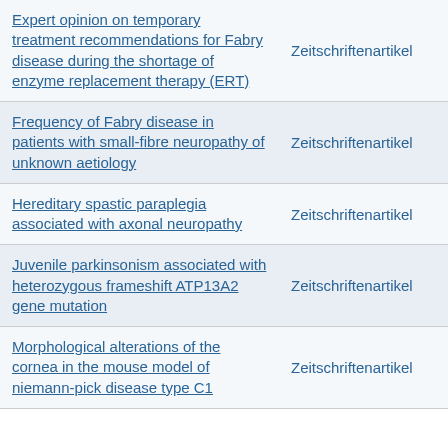| Title | Typ |  |
| --- | --- | --- |
| Expert opinion on temporary treatment recommendations for Fabry disease during the shortage of enzyme replacement therapy (ERT) | Zeitschriftenartikel | Drucksc |
| Frequency of Fabry disease in patients with small-fibre neuropathy of unknown aetiology | Zeitschriftenartikel | Drucksc |
| Hereditary spastic paraplegia associated with axonal neuropathy | Zeitschriftenartikel | Drucksc |
| Juvenile parkinsonism associated with heterozygous frameshift ATP13A2 gene mutation | Zeitschriftenartikel | Drucksc |
| Morphological alterations of the cornea in the mouse model of niemann-pick disease type C1 | Zeitschriftenartikel | Drucksc |